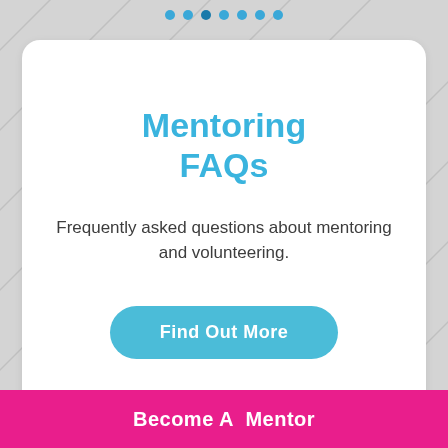[Figure (other): Navigation dots row at top of page, 7 blue dots]
Mentoring FAQs
Frequently asked questions about mentoring and volunteering.
Find Out More
Become A Mentor